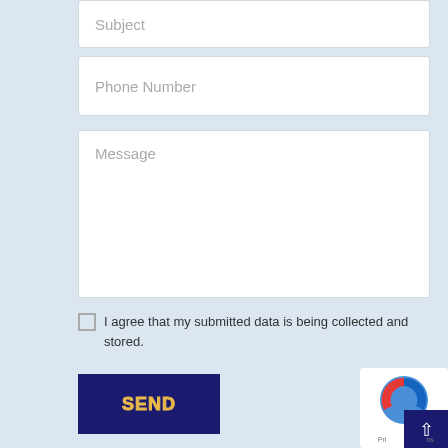Subject
Phone Number
Message
I agree that my submitted data is being collected and stored.
SEND